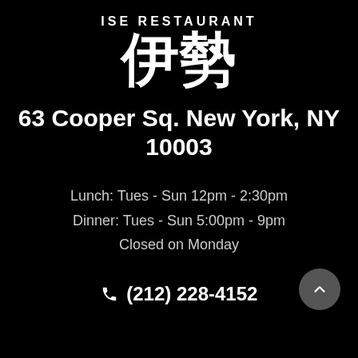ISE RESTAURANT
[Figure (illustration): Large Japanese kanji characters '伊勢' in white on black background, stylized brush-stroke font]
63 Cooper Sq. New York, NY 10003
Lunch: Tues - Sun 12pm - 2:30pm
Dinner: Tues - Sun 5:00pm - 9pm
Closed on Monday
(212) 228-4152